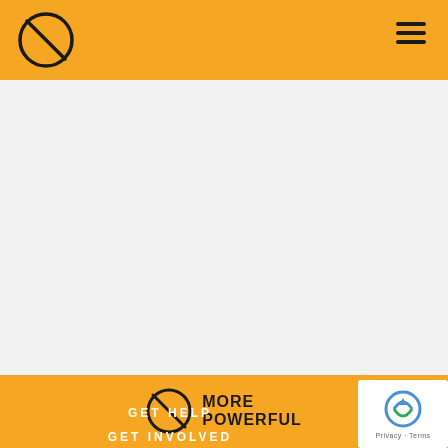competition in the industry and to combat insurance fraud to drive rates lower for the North Carolina consumer. He is also passionate about making the office more consumer-friendly to help residents attain their insurance needs.
He took office January 2017.
[Figure (logo): More Powerful logo: a circle with diagonal slash (prohibition sign) next to bold text reading MORE POWERFUL]
GET HELP
GET INVOLVED